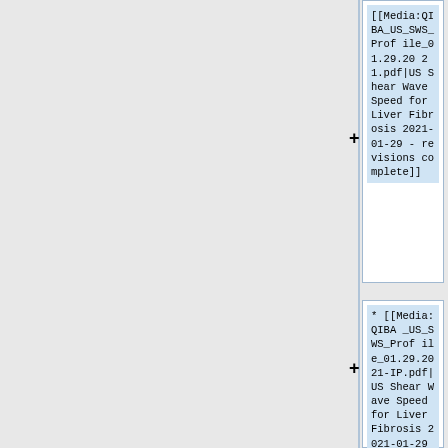[[Media:QIBA_US_SWS_Profile_01.29.2021.pdf|US Shear Wave Speed for Liver Fibrosis 2021-01-29 - revisions complete]]
* [[Media:QIBA_US_SWS_Profile_01.29.2021-IP.pdf|US Shear Wave Speed for Liver Fibrosis 2021-01-29 -